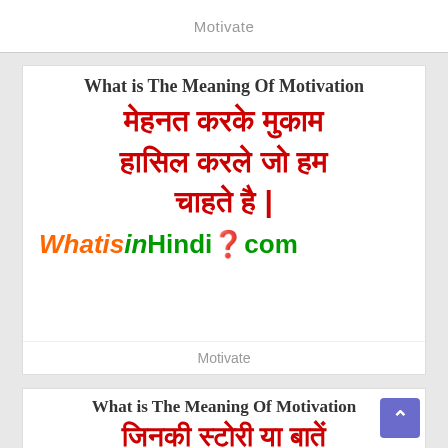Motivate
What is The Meaning Of Motivation
मेहनत करके मुकाम हासिल करले जो हम चाहते है |
[Figure (logo): WhatisinHindi.com brand logo with colorful question mark]
Motivate
What is The Meaning Of Motivation
जिनकी स्टोरी या बातें